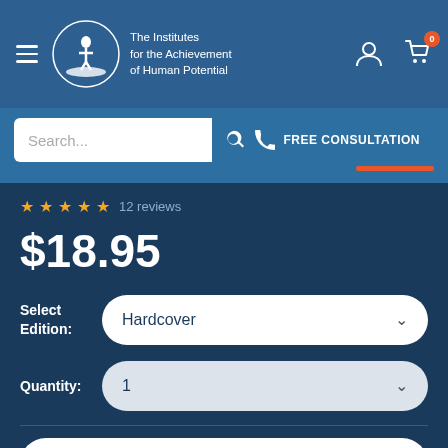The Institutes for the Achievement of Human Potential
Search...
FREE CONSULTATION
★★★★★ 12 reviews
$18.95
Select Edition: Hardcover
Quantity: 1
Add to cart